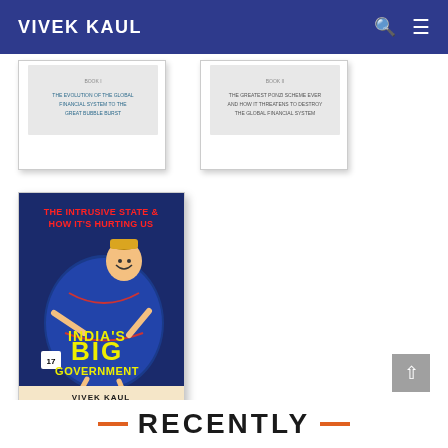VIVEK KAUL
[Figure (illustration): Book cover thumbnail - The Evolution of the Global Financial System to the Great Bubble Burst]
[Figure (illustration): Book cover thumbnail - The Greatest Ponzi Scheme Ever and How It Threatens to Destroy the Global Financial System]
[Figure (illustration): Book cover - India's Big Government: The Intrusive State & How It's Hurting Us, by Vivek Kaul, Foreword by Bill Bonner]
RECENTLY